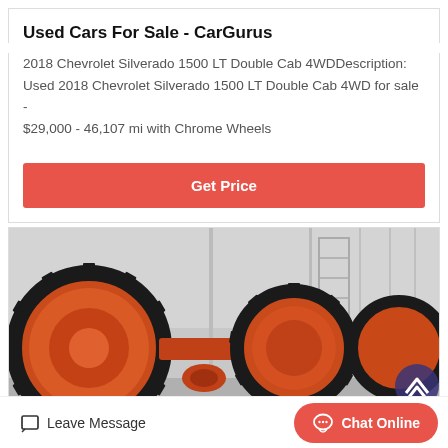Used Cars For Sale - CarGurus
2018 Chevrolet Silverado 1500 LT Double Cab 4WDDescription: Used 2018 Chevrolet Silverado 1500 LT Double Cab 4WD for sale - $29,000 - 46,107 mi with Chrome Wheels
Get Price
[Figure (photo): Industrial orange ball mill machinery with large black gear rings in a warehouse/factory setting]
Leave Message
Chat Online